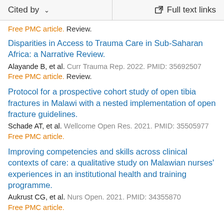Cited by   ∨   Full text links
Free PMC article. Review.
Disparities in Access to Trauma Care in Sub-Saharan Africa: a Narrative Review.
Alayande B, et al. Curr Trauma Rep. 2022. PMID: 35692507
Free PMC article. Review.
Protocol for a prospective cohort study of open tibia fractures in Malawi with a nested implementation of open fracture guidelines.
Schade AT, et al. Wellcome Open Res. 2021. PMID: 35505977
Free PMC article.
Improving competencies and skills across clinical contexts of care: a qualitative study on Malawian nurses' experiences in an institutional health and training programme.
Aukrust CG, et al. Nurs Open. 2021. PMID: 34355870
Free PMC article.